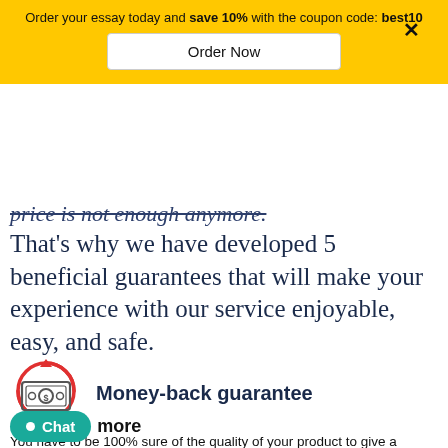Order your essay today and save 10% with the coupon code: best10
Order Now
price is not enough anymore.
That's why we have developed 5 beneficial guarantees that will make your experience with our service enjoyable, easy, and safe.
[Figure (illustration): Money icon with circular red arrows indicating a money-back guarantee]
Money-back guarantee
You have to be 100% sure of the quality of your product to give a money-back guarantee. This describes us perfectly. Make sure that this guarantee is totally transparent.
Chat   more